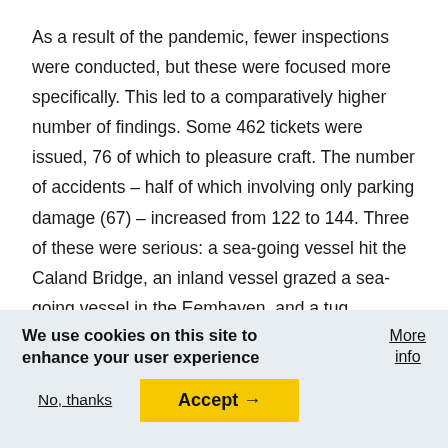As a result of the pandemic, fewer inspections were conducted, but these were focused more specifically. This led to a comparatively higher number of findings. Some 462 tickets were issued, 76 of which to pleasure craft. The number of accidents – half of which involving only parking damage (67) – increased from 122 to 144. Three of these were serious: a sea-going vessel hit the Caland Bridge, an inland vessel grazed a sea-going vessel in the Eemhaven, and a tug capsized in the Bocht van Esch near the Van Brienenoord Bridge.
We use cookies on this site to enhance your user experience
More info
No, thanks
Accept →